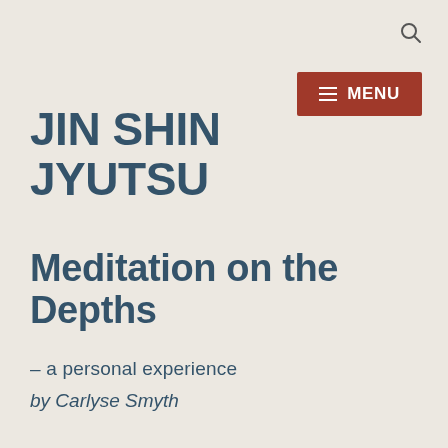JIN SHIN JYUTSU
Meditation on the Depths
– a personal experience
by Carlyse Smyth